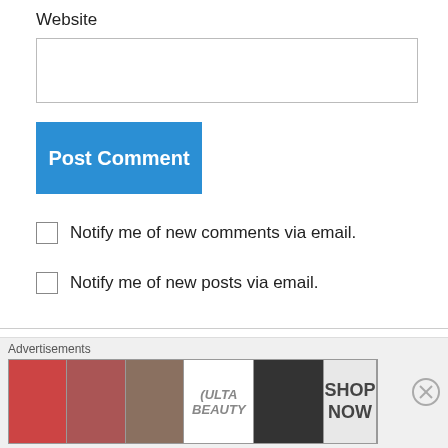Website
Post Comment
Notify me of new comments via email.
Notify me of new posts via email.
Brandon Vipperman on December 29, 2014 at 11:02 am
Awe, I was hoping for fonts to use...
Advertisements